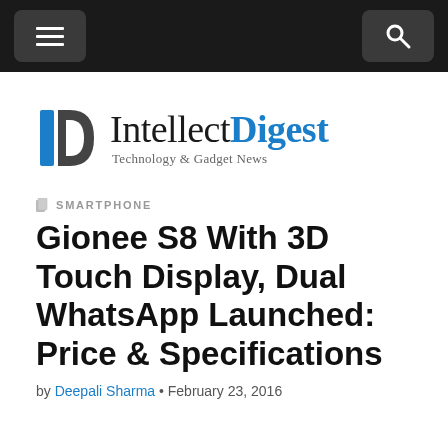Navigation bar with hamburger menu and search icon
[Figure (logo): IntellectDigest logo with blue and grey D icon, text 'IntellectDigest' with 'Digest' in blue, tagline 'Technology & Gadget News']
SMARTPHONE
Gionee S8 With 3D Touch Display, Dual WhatsApp Launched: Price & Specifications
by Deepali Sharma • February 23, 2016